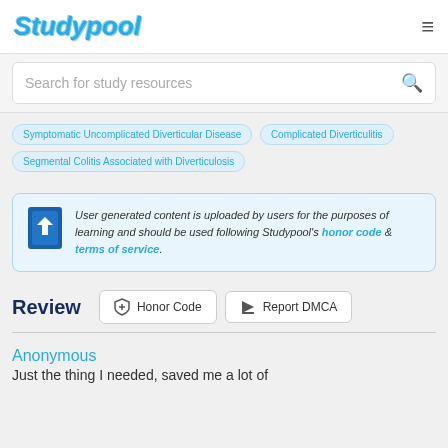Studypool
Search for study resources
Symptomatic Uncomplicated Diverticular Disease
Complicated Diverticulitis
Segmental Colitis Associated with Diverticulosis
User generated content is uploaded by users for the purposes of learning and should be used following Studypool's honor code & terms of service.
Review
Honor Code
Report DMCA
Anonymous
Just the thing I needed, saved me a lot of